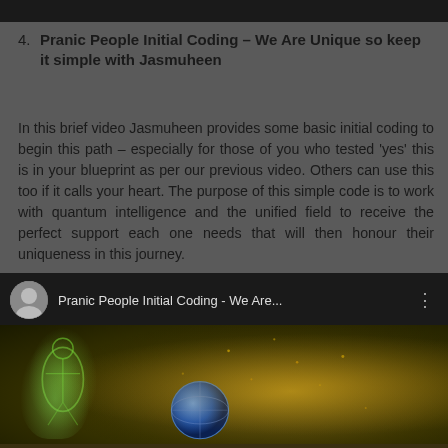[Figure (screenshot): Dark top bar / decorative header strip]
4. Pranic People Initial Coding – We Are Unique so keep it simple with Jasmuheen
In this brief video Jasmuheen provides some basic initial coding to begin this path – especially for those of you who tested 'yes' this is in your blueprint as per our previous video. Others can use this too if it calls your heart. The purpose of this simple code is to work with quantum intelligence and the unified field to receive the perfect support each one needs that will then honour their uniqueness in this journey.
[Figure (screenshot): YouTube video thumbnail for 'Pranic People Initial Coding - We Are...' showing a glowing human figure and globe on a dark background with a golden particle field. The video header shows a circular avatar of a woman with white hair and the video title text.]